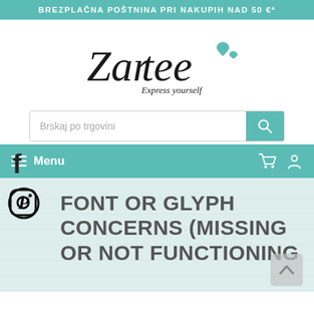BREZPLAČNA POŠTNINA PRI NAKUPIH NAD 50 €*
[Figure (logo): Zartee Express yourself logo with teal heart accents in decorative script font]
Brskaj po trgovini
Menu
FONT OR GLYPH CONCERNS (MISSING OR NOT FUNCTIONING